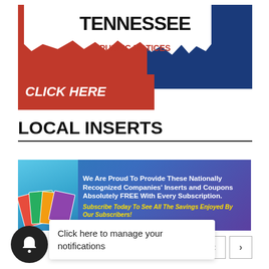[Figure (infographic): Tennessee Public Notices banner with red and blue background, torn white paper effect, bold TENNESSEE text, PUBLIC NOTICES subtitle in red, and CLICK HERE button]
LOCAL INSERTS
[Figure (infographic): Advertisement banner: We Are Proud To Provide These Nationally Recognized Companies' Inserts and Coupons Absolutely FREE With Every Subscription. Subscribe Today To See All The Savings Enjoyed By Our Subscribers!]
Click here to manage your notifications